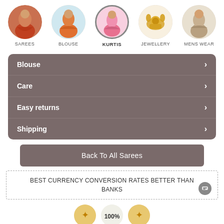[Figure (infographic): Five circular category icons: SAREES (woman in red saree), BLOUSE (woman in orange blouse), KURTIS (woman in pink kurti, highlighted), JEWELLERY (gold necklace and earrings), MENS WEAR (man in ethnic jacket)]
Blouse ›
Care ›
Easy returns ›
Shipping ›
Back To All Sarees
BEST CURRENCY CONVERSION RATES BETTER THAN BANKS
[Figure (infographic): Three partially visible circular badge icons at the bottom of the page]